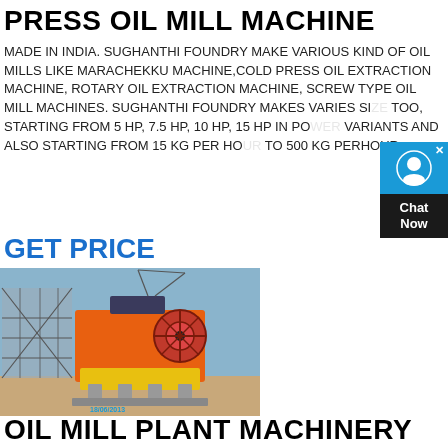PRESS OIL MILL MACHINE
MADE IN INDIA. SUGHANTHI FOUNDRY MAKE VARIOUS KIND OF OIL MILLS LIKE MARACHEKKU MACHINE,COLD PRESS OIL EXTRACTION MACHINE, ROTARY OIL EXTRACTION MACHINE, SCREW TYPE OIL MILL MACHINES. SUGHANTHI FOUNDRY MAKES VARIES SIZE TOO, STARTING FROM 5 HP, 7.5 HP, 10 HP, 15 HP IN POWER VARIANTS AND ALSO STARTING FROM 15 KG PER HOUR TO 500 KG PERHOUR
GET PRICE
[Figure (photo): Photo of an oil mill plant machinery / heavy industrial machine with orange and yellow components, scaffolding in background, construction site, dated 18/06/2013]
OIL MILL PLANT MACHINERY